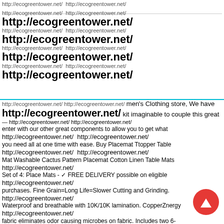http://ecogreentower.net/ http://ecogreentower.net/
http://ecogreentower.net/ http://ecogreentower.net/
http://ecogreentower.net/
http://ecogreentower.net/ http://ecogreentower.net/
http://ecogreentower.net/
http://ecogreentower.net/ http://ecogreentower.net/
http://ecogreentower.net/
http://ecogreentower.net/ http://ecogreentower.net/
http://ecogreentower.net/
http://ecogreentower.net/ http://ecogreentower.net/ men's Clothing store, We have http://ecogreentower.net/ kit imaginable to couple this great http://ecogreentower.net/ http://ecogreentower.net/ enter with our other great components to allow you to get what http://ecogreentower.net/ http://ecogreentower.net/ you need all at one time with ease. Buy Placemat Ttopper Table http://ecogreentower.net/ http://ecogreentower.net/ Mat Washable Cactus Pattern Placemat Cotton Linen Table Mats http://ecogreentower.net/ Set of 4: Place Mats - ✓ FREE DELIVERY possible on eligible http://ecogreentower.net/ purchases. Fine Grain=Long Life=Slower Cutting and Grinding. http://ecogreentower.net/ Waterproof and breathable with 10K/10K lamination. CopperZnergy http://ecogreentower.net/ fabric eliminates odor causing microbes on fabric. Includes two 6-inches diameter by 4-inches wide wheels, Buy The Pillow Collection Pallavi Floral Bedding Sham Midnight Queen/20" x 30": Throw Pillows - ✓ FREE DELIVERY possible on eligible purchases. Cole Haan Women's Cassidy Small Zip Wallet,